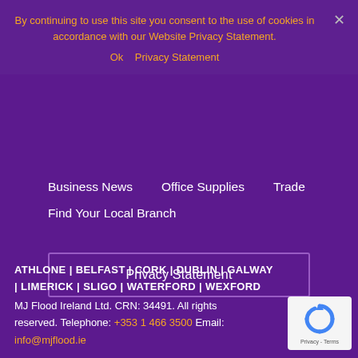By continuing to use this site you consent to the use of cookies in accordance with our Website Privacy Statement.
Ok   Privacy Statement
Business News
Office Supplies
Trade
Find Your Local Branch
Privacy Statement
ATHLONE | BELFAST | CORK | DUBLIN | GALWAY | LIMERICK | SLIGO | WATERFORD | WEXFORD
MJ Flood Ireland Ltd. CRN: 34491. All rights reserved. Telephone: +353 1 466 3500 Email: info@mjflood.ie
[Figure (logo): reCAPTCHA badge with recycling-style arrow logo and Privacy - Terms text]